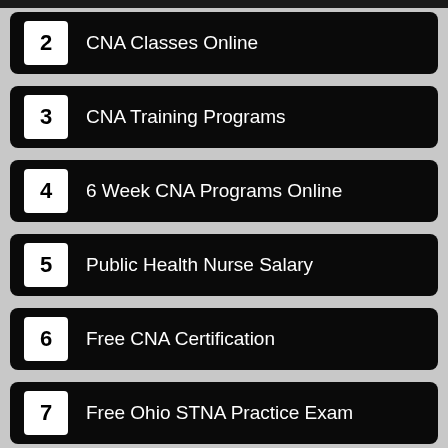2 CNA Classes Online
3 CNA Training Programs
4 6 Week CNA Programs Online
5 Public Health Nurse Salary
6 Free CNA Certification
7 Free Ohio STNA Practice Exam